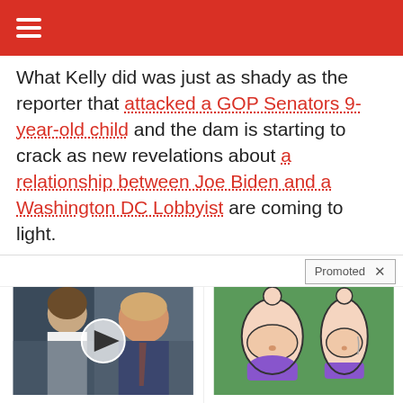≡
What Kelly did was just as shady as the reporter that attacked a GOP Senators 9-year-old child and the dam is starting to crack as new revelations about a relationship between Joe Biden and a Washington DC Lobbyist are coming to light.
Promoted ×
[Figure (photo): Photo of Melania and Donald Trump with video play button overlay]
AOC Wants This Video Destroyed — Watch Now Before It's Banned
🔥 622,511
[Figure (illustration): Cartoon illustration of two female figures in bikinis showing weight loss before/after]
How To Lose 40.5 Lbs In A Month (Eat This Once Every Day)
🔥 2,204